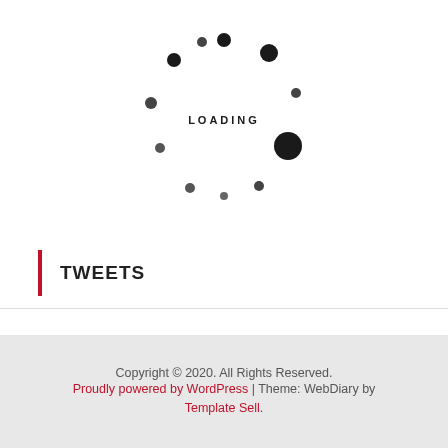[Figure (illustration): Loading spinner graphic with dots arranged in a circle and the word LOADING in the center]
TWEETS
Copyright © 2020. All Rights Reserved.
Proudly powered by WordPress | Theme: WebDiary by Template Sell.